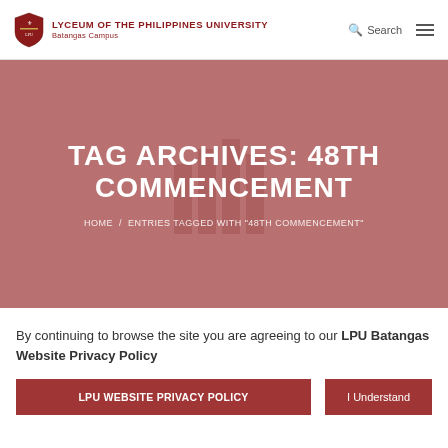LYCEUM OF THE PHILIPPINES UNIVERSITY Batangas Campus
TAG ARCHIVES: 48TH COMMENCEMENT
HOME / ENTRIES TAGGED WITH "48TH COMMENCEMENT"
By continuing to browse the site you are agreeing to our LPU Batangas Website Privacy Policy
LPU WEBSITE PRIVACY POLICY
I Understand